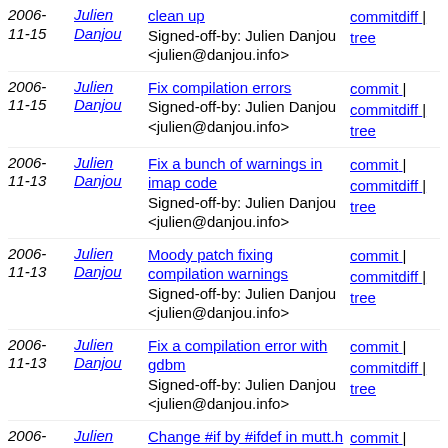2006-11-15 | Julien Danjou | clean up Signed-off-by: Julien Danjou <julien@danjou.info> | commitdiff | tree
2006-11-15 | Julien Danjou | Fix compilation errors Signed-off-by: Julien Danjou <julien@danjou.info> | commit | commitdiff | tree
2006-11-13 | Julien Danjou | Fix a bunch of warnings in imap code Signed-off-by: Julien Danjou <julien@danjou.info> | commit | commitdiff | tree
2006-11-13 | Julien Danjou | Moody patch fixing compilation warnings Signed-off-by: Julien Danjou <julien@danjou.info> | commit | commitdiff | tree
2006-11-13 | Julien Danjou | Fix a compilation error with gdbm Signed-off-by: Julien Danjou <julien@danjou.info> | commit | commitdiff | tree
2006-11-13 | Julien Danjou | Change #if by #ifdef in mutt.h Signed-off-by: Julien Danjou <julien@danjou.info> | commit | commitdiff | tree
2006-11-10 | Julien Danjou | Remove included regex lib Signed-off-by: Julien Danjou <julien@danjou.info> | commit | commitdiff | tree
2006-... | Julien Danjou | Fix comparison between int and ...